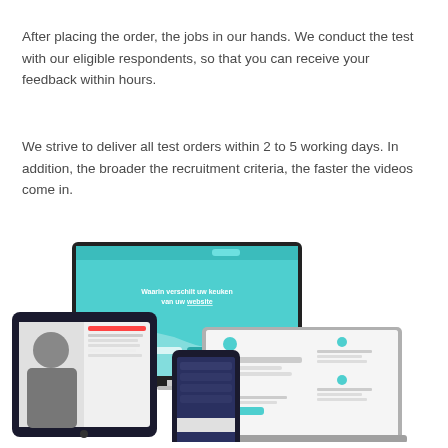After placing the order, the jobs in our hands. We conduct the test with our eligible respondents, so that you can receive your feedback within hours.
We strive to deliver all test orders within 2 to 5 working days. In addition, the broader the recruitment criteria, the faster the videos come in.
[Figure (screenshot): Screenshot showing a website testing platform displayed across multiple devices: a desktop iMac showing a teal/turquoise landing page with Dutch text 'Waarin verschilt uw keuken van uw website', a laptop showing a features/stats page, a tablet showing a user testing session with a person, and a smartphone showing a dark UI.]